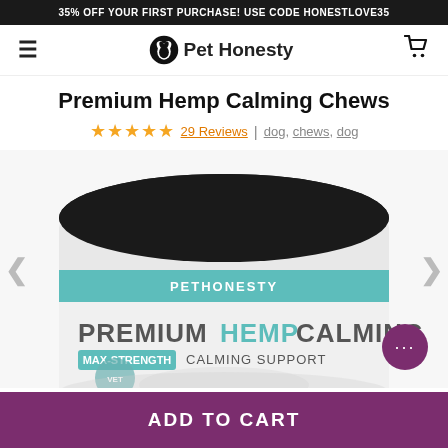35% OFF YOUR FIRST PURCHASE! USE CODE HONESTLOVE35
[Figure (logo): Pet Honesty logo with hamburger menu on left and cart icon on right]
Premium Hemp Calming Chews
★★★★★ 29 Reviews | dog, chews, dog
[Figure (photo): PetHonesty Premium Hemp Calming Max-Strength Calming Support product jar with teal label and black lid, showing a cat on the label]
ADD TO CART